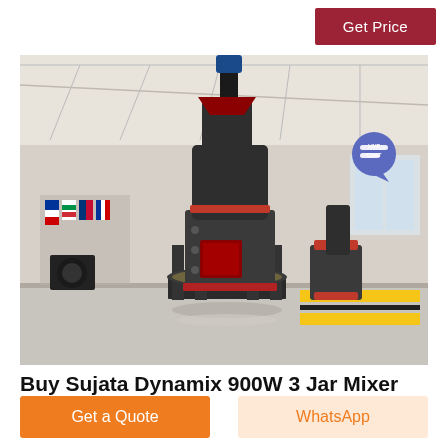Get Price
[Figure (photo): Industrial grinding mill machine displayed in a large factory/exhibition hall. The machine is dark grey with red accents, cylindrical tower design with a feed inlet at top, discharge port in the middle, and structural steel frame at base. International flags visible in background.]
[Figure (infographic): Live Chat speech bubble icon with teal/blue color and 'LIVE CHAT' text in white, overlaid on top-right of the product image.]
Buy Sujata Dynamix 900W 3 Jar Mixer
Get a Quote
WhatsApp